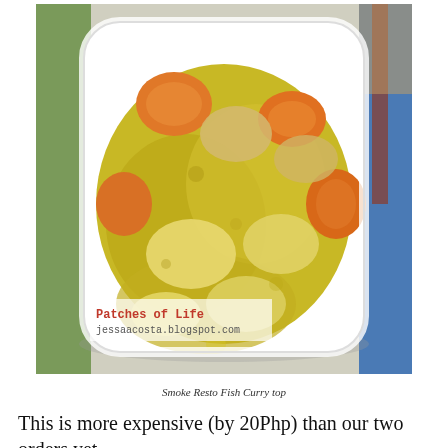[Figure (photo): A white square bowl filled with yellow-green fish curry sauce with chunks of fish, orange carrots, and potatoes. The bowl sits on a green and blue tablecloth. A watermark in the lower-left reads 'Patches of Life / jessaacosta.blogspot.com'.]
Smoke Resto Fish Curry top
This is more expensive (by 20Php) than our two orders yet,